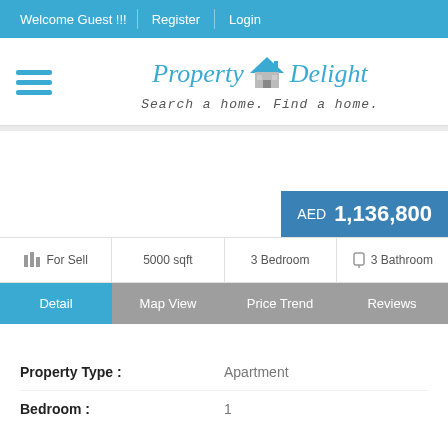Welcome Guest !!! | Register | Login
[Figure (logo): Property Delight logo with house icon and tagline 'Search a home. Find a home.']
AED 1,136,800
| Type | Size | Bedrooms | Bathrooms |
| --- | --- | --- | --- |
| For Sell | 5000 sqft | 3 Bedroom | 3 Bathroom |
Detail | Map View | Price Trend | Reviews
Property Type : Apartment
Bedroom : 1